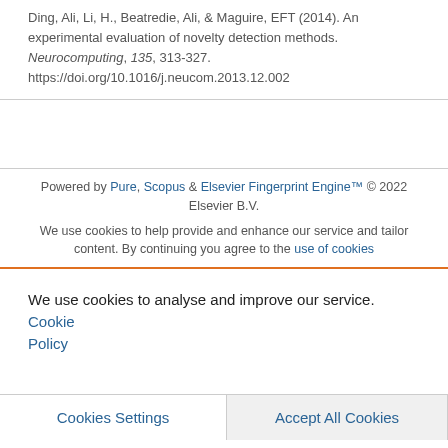Ding, Ali, Li, H., Beatredie, Ali, & Maguire, EFT (2014). An experimental evaluation of novelty detection methods. Neurocomputing, 135, 313-327. https://doi.org/10.1016/j.neucom.2013.12.002
Powered by Pure, Scopus & Elsevier Fingerprint Engine™ © 2022 Elsevier B.V.
We use cookies to help provide and enhance our service and tailor content. By continuing you agree to the use of cookies
We use cookies to analyse and improve our service. Cookie Policy
Cookies Settings
Accept All Cookies